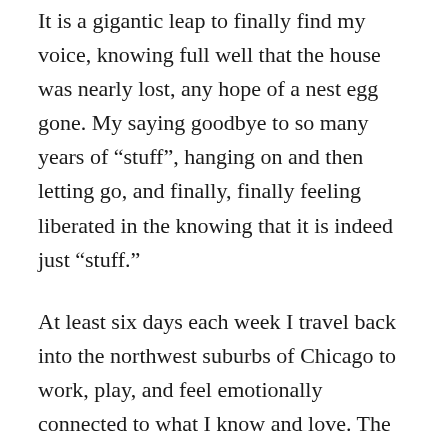It is a gigantic leap to finally find my voice, knowing full well that the house was nearly lost, any hope of a nest egg gone. My saying goodbye to so many years of “stuff”, hanging on and then letting go, and finally, finally feeling liberated in the knowing that it is indeed just “stuff.”
At least six days each week I travel back into the northwest suburbs of Chicago to work, play, and feel emotionally connected to what I know and love. The rental property that holds the last remnants of my past is gifted to me for a time as I sort out my pathway. It also happens to belong to my first husband. The world does work in